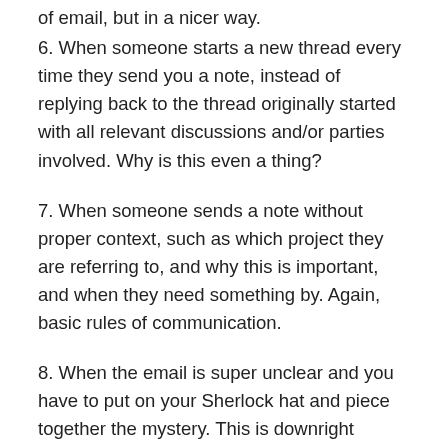of email, but in a nicer way.
6. When someone starts a new thread every time they send you a note, instead of replying back to the thread originally started with all relevant discussions and/or parties involved. Why is this even a thing?
7. When someone sends a note without proper context, such as which project they are referring to, and why this is important, and when they need something by. Again, basic rules of communication.
8. When the email is super unclear and you have to put on your Sherlock hat and piece together the mystery. This is downright annoying and a waste of time, so I simply write back “can you please clarify